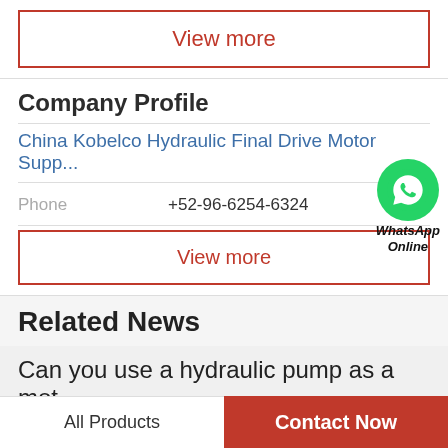View more
Company Profile
China Kobelco Hydraulic Final Drive Motor Supp...
Phone  +52-96-6254-6324
[Figure (logo): WhatsApp green circle icon with phone receiver]
WhatsApp Online
View more
Related News
Can you use a hydraulic pump as a mot...
All Products
Contact Now